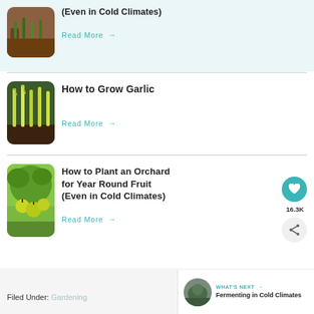[Figure (photo): Partial top card showing seedlings in soil tray, article about growing in cold climates]
Read More →
[Figure (photo): Garlic shoots growing from dark soil]
How to Grow Garlic
Read More →
[Figure (photo): Green apples on a tree with large leaves, orchard scene]
How to Plant an Orchard for Year Round Fruit (Even in Cold Climates)
Read More →
16.3K
[Figure (photo): WHAT'S NEXT thumbnail - Fermenting in Cold Climates]
WHAT'S NEXT → Fermenting in Cold Climates
Filed Under: Gardening